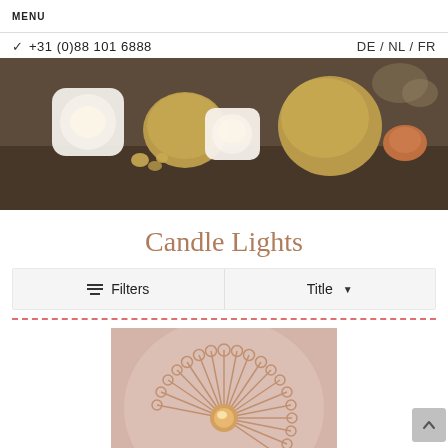MENU
+31 (0)88 101 6888   DE / NL / FR
[Figure (photo): Hero image showing decorative candle holders - white alabaster cube-shaped holders and golden metallic round holders arranged on a dark surface]
Candle Lights
Filters   Title
[Figure (photo): Product image showing a sunburst-shaped decorative candle holder with circular rings at the ends of radiating metal spokes, with a glowing center, displayed against a pink background]